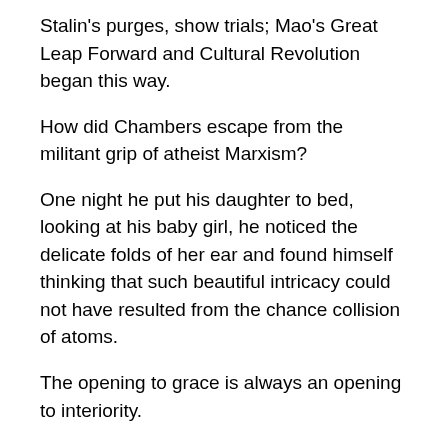Stalin's purges, show trials; Mao's Great Leap Forward and Cultural Revolution began this way.
How did Chambers escape from the militant grip of atheist Marxism?
One night he put his daughter to bed, looking at his baby girl, he noticed the delicate folds of her ear and found himself thinking that such beautiful intricacy could not have resulted from the chance collision of atoms.
The opening to grace is always an opening to interiority.
A German Communist once told Chambers why he suddenly stopped being Communist: one night while out for a long walk, he suddenly heard SCREAMS!  This polite German began to remember his education as a child at the hands of Nuns, it conflicted badly with his initiation into